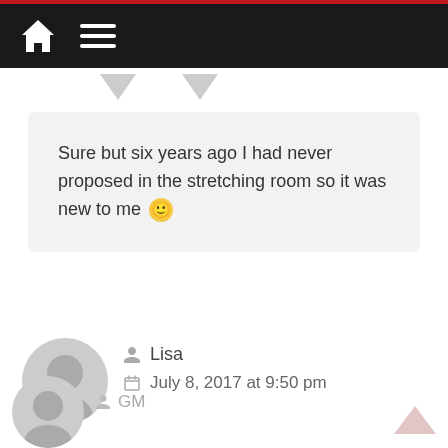[Figure (screenshot): Navigation bar with home icon and hamburger menu on dark background with red top border]
Sure but six years ago I had never proposed in the stretching room so it was new to me 🙂
Lisa
July 8, 2017 at 9:50 pm
Another place would not be romantic, Sticky Club Cool.
Reply
GM